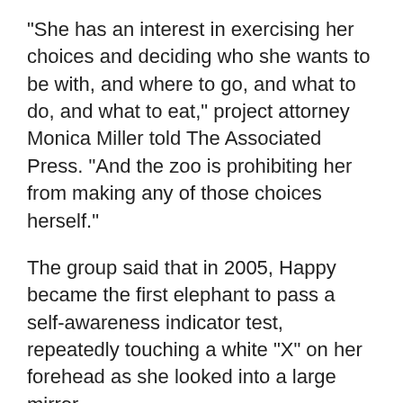"She has an interest in exercising her choices and deciding who she wants to be with, and where to go, and what to do, and what to eat," project attorney Monica Miller told The Associated Press. "And the zoo is prohibiting her from making any of those choices herself."
The group said that in 2005, Happy became the first elephant to pass a self-awareness indicator test, repeatedly touching a white "X" on her forehead as she looked into a large mirror.
The zoo and its supporters warn that a win for the advocates could open the door to more legal actions on behalf of animals, including pets and other species in zoos.
"If courts follow NRP's demand to grant animals